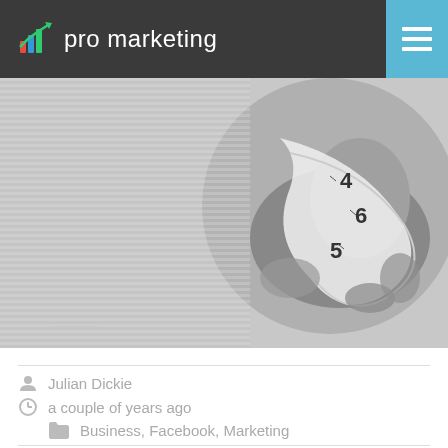pro marketing
[Figure (photo): Black and white photo of hands holding a measuring tape, with horizontal line overlay effect on the left side]
Julian Dickie
a couple of years ago
Business, Facebook, Marketing